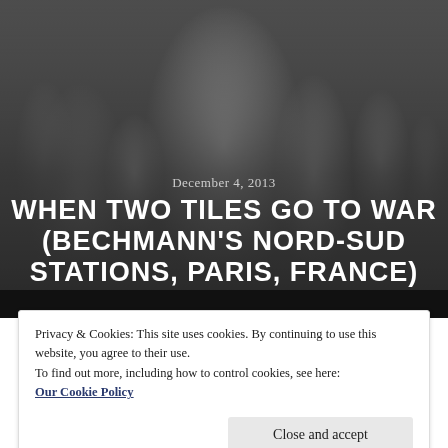[Figure (photo): Black and white historical photograph of people in early 20th century clothing on a Paris street, with 'PORCHER' signage visible on storefronts in the background.]
December 4, 2013
WHEN TWO TILES GO TO WAR (BECHMANN'S NORD-SUD STATIONS, PARIS, FRANCE)
Privacy & Cookies: This site uses cookies. By continuing to use this website, you agree to their use.
To find out more, including how to control cookies, see here:
Our Cookie Policy
Close and accept